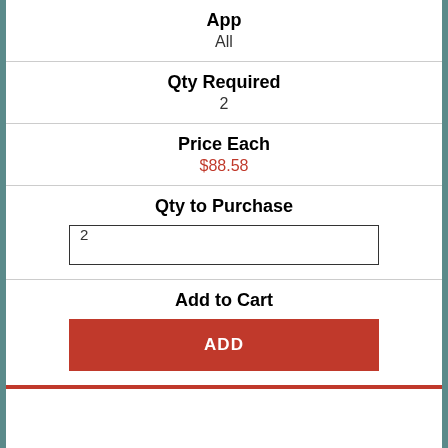App
All
Qty Required
2
Price Each
$88.58
Qty to Purchase
2
Add to Cart
ADD